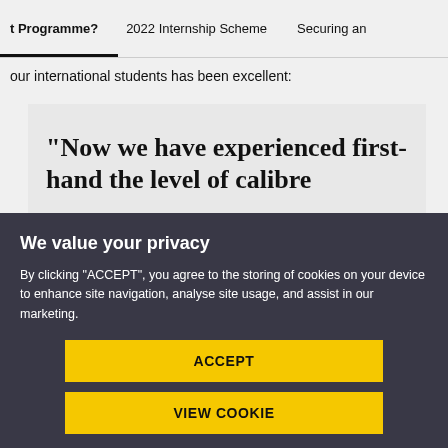t Programme?   2022 Internship Scheme   Securing an
our international students has been excellent:
"Now we have experienced first-hand the level of calibre
We value your privacy
By clicking "ACCEPT", you agree to the storing of cookies on your device to enhance site navigation, analyse site usage, and assist in our marketing.
ACCEPT
VIEW COOKIE